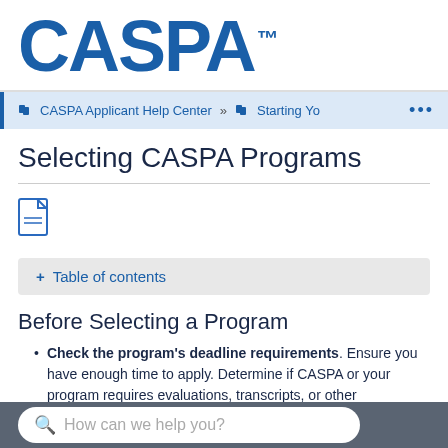[Figure (logo): CASPA logo in large bold blue text with TM superscript]
CASPA Applicant Help Center » Starting Yo ...
Selecting CASPA Programs
[Figure (other): PDF document icon]
+ Table of contents
Before Selecting a Program
Check the program's deadline requirements. Ensure you have enough time to apply. Determine if CASPA or your program requires evaluations, transcripts, or other supplementary
How can we help you?